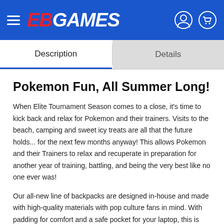EB GAMES
Description	Details
Pokemon Fun, All Summer Long!
When Elite Tournament Season comes to a close, it's time to kick back and relax for Pokemon and their trainers. Visits to the beach, camping and sweet icy treats are all that the future holds... for the next few months anyway! This allows Pokemon and their Trainers to relax and recuperate in preparation for another year of training, battling, and being the very best like no one ever was!
Our all-new line of backpacks are designed in-house and made with high-quality materials with pop culture fans in mind. With padding for comfort and a safe pocket for your laptop, this is one bag you just can't miss.